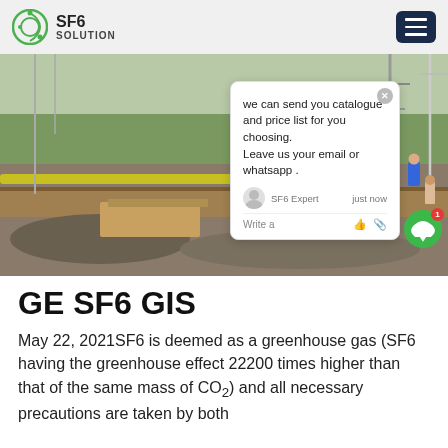SF6 SOLUTION
[Figure (photo): Construction/industrial electrical substation site with workers in blue uniforms and hard hats, large pipes, gravel, and electrical equipment visible]
GE SF6 GIS
May 22, 2021SF6 is deemed as a greenhouse gas (SF6 having the greenhouse effect 22200 times higher than that of the same mass of CO2) and all necessary precautions are taken by both